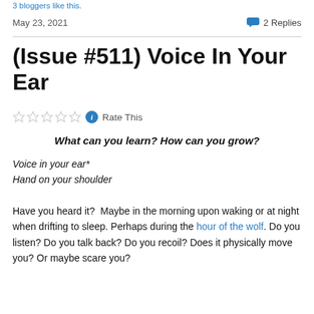3 bloggers like this.
May 23, 2021    2 Replies
(Issue #511) Voice In Your Ear
☆☆☆☆☆ ℹ Rate This
What can you learn? How can you grow?
Voice in your ear*
Hand on your shoulder
Have you heard it?  Maybe in the morning upon waking or at night when drifting to sleep. Perhaps during the hour of the wolf. Do you listen? Do you talk back? Do you recoil? Does it physically move you? Or maybe scare you?